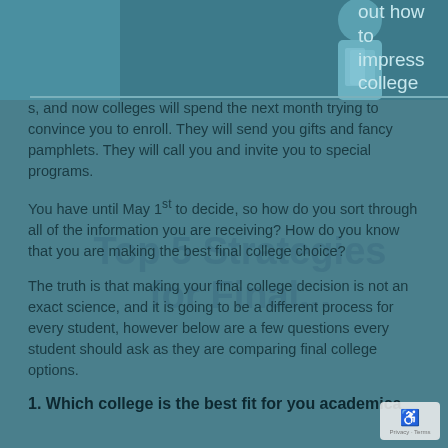[Figure (photo): Photo of a student holding books/notebooks, cropped at top of page with teal overlay]
out how to impress colleges, and now colleges will spend the next month trying to convince you to enroll. They will send you gifts and fancy pamphlets. They will call you and invite you to special programs.
You have until May 1st to decide, so how do you sort through all of the information you are receiving? How do you know that you are making the best final college choice?
The truth is that making your final college decision is not an exact science, and it is going to be a different process for every student, however below are a few questions every student should ask as they are comparing final college options.
1. Which college is the best fit for you academica